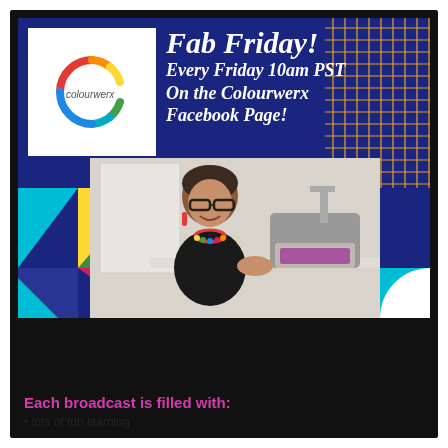[Figure (infographic): Colourwerx Fab Friday promotional graphic. Dark blue background with orange grid pattern top right. White box containing Colourwerx rainbow C logo top left. Bold italic white text: 'Fab Friday! Every Friday 10am PST On the Colourwerx Facebook Page!' Center photo of a woman with short dark hair and glasses, wearing a colorful necklace and black top, smiling at a sewing machine. Colorful geometric shapes (triangles, circles, squares) in teal, magenta, yellow, green, white around the bottom border.]
Each broadcast is filled with:
• lots of fun learning